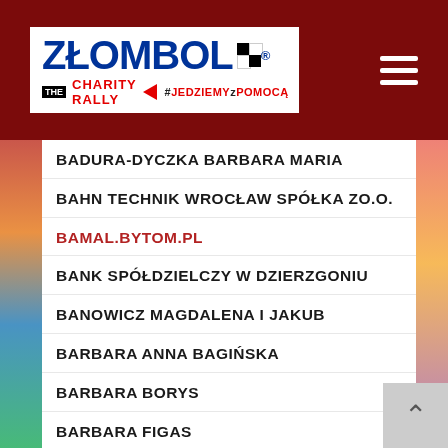[Figure (logo): Złombol The Charity Rally logo with checkered flag, arrow and hashtag #JEDZIEMYzPOMOCĄ on dark red header background]
BADURA-DYCZKA BARBARA MARIA
BAHN TECHNIK WROCŁAW SPÓŁKA ZO.O.
BAMAL.BYTOM.PL
BANK SPÓŁDZIELCZY W DZIERZGONIU
BANOWICZ MAGDALENA I JAKUB
BARBARA ANNA BAGIŃSKA
BARBARA BORYS
BARBARA FIGAS
BARBARA KILIŃSKA I RYSZARD KILIŃSKI